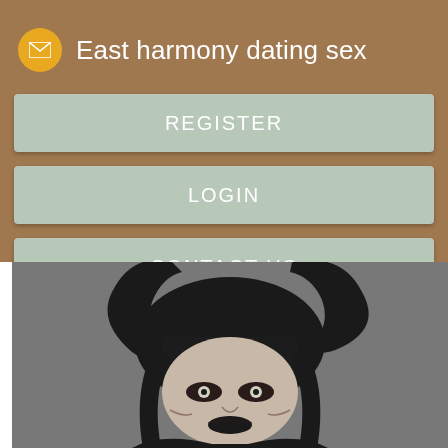East harmony dating sex
REGISTER
LOGIN
CONTACT US
[Figure (photo): A dark fantasy illustration/photo of a woman with long black horns, dark hair with bangs, pale skin, heavy gothic makeup with dark lips and dramatic eye makeup, wearing dark clothing. The image is in greyscale/monochrome tones with a grey background.]